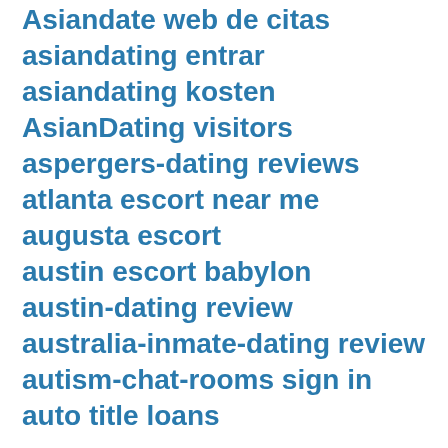Asiandate web de citas
asiandating entrar
asiandating kosten
AsianDating visitors
aspergers-dating reviews
atlanta escort near me
augusta escort
austin escort babylon
austin-dating review
australia-inmate-dating review
autism-chat-rooms sign in
auto title loans